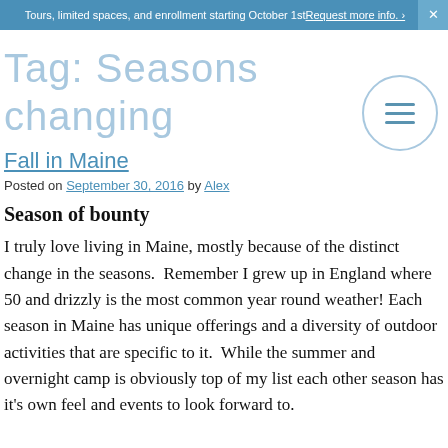Tours, limited spaces, and enrollment starting October 1st Request more info. ›  ×
Tag: Seasons changing
Fall in Maine
Posted on September 30, 2016 by Alex
Season of bounty
I truly love living in Maine, mostly because of the distinct change in the seasons.  Remember I grew up in England where 50 and drizzly is the most common year round weather! Each season in Maine has unique offerings and a diversity of outdoor activities that are specific to it.  While the summer and overnight camp is obviously top of my list each other season has it's own feel and events to look forward to.